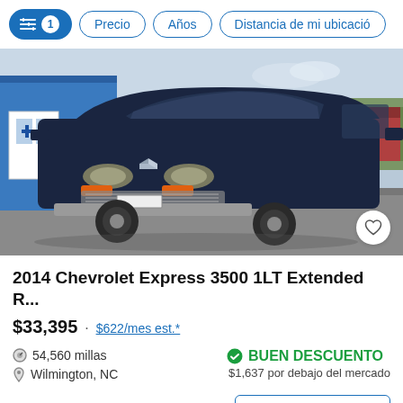Filter controls: [filter icon] 1 · Precio · Años · Distancia de mi ubicació...
[Figure (photo): Front view of a dark navy 2014 Chevrolet Express 3500 van parked in a lot in front of a blue and white building. Heart/favorite icon button in bottom-right corner of image.]
2014 Chevrolet Express 3500 1LT Extended R...
$33,395 · $622/mes est.*
54,560 millas
Wilmington, NC
BUEN DESCUENTO
$1,637 por debajo del mercado
(910) 527-5711
Solicitar información